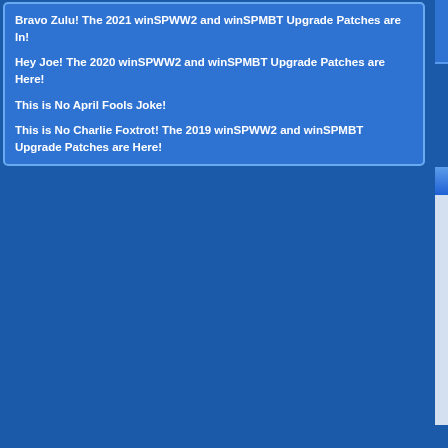Bravo Zulu! The 2021 winSPWW2 and winSPMBT Upgrade Patches are In!
Hey Joe! The 2020 winSPWW2 and winSPMBT Upgrade Patches are Here!
This is No April Fools Joke!
This is No Charlie Foxtrot! The 2019 winSPWW2 and winSPMBT Upgrade Patches are Here!
[Figure (illustration): Advertisements section with silhouette avatar icon and tank image below]
Data Jammers: FastForward Upd... Press Release Teaser: Patch Available For Immed... Tim Brooks
[Figure (screenshot): New Thread button]
Display Options
Showing threads 1 to 2 of 2
Sorted By: Thread Rating, Sort Order: Descending, From The: Beginning, Show
[Figure (infographic): Forum post icons legend: New posts, No new posts, Hot thread with new posts, Hot thread with no new posts, Thread is closed]
Posting Rules
You may not post new threads
You may not post replies
You may not post attachments
You may not edit your posts
BB code is On
Smilies are On
[IMG] code is On
HTML code is On
Forum Rules